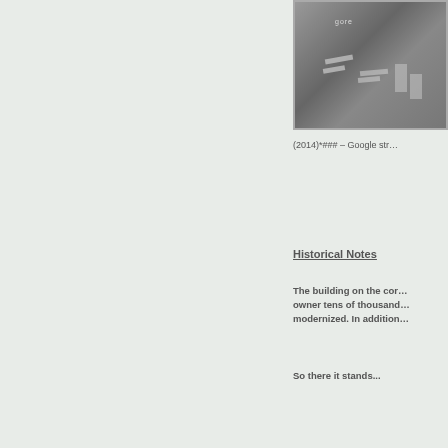[Figure (photo): Aerial or elevated black and white photograph showing a road intersection with pavement markings]
(2014)*### – Google str…
Historical Notes
The building on the cor… owner tens of thousand… modernized. In addition…
So there it stands...